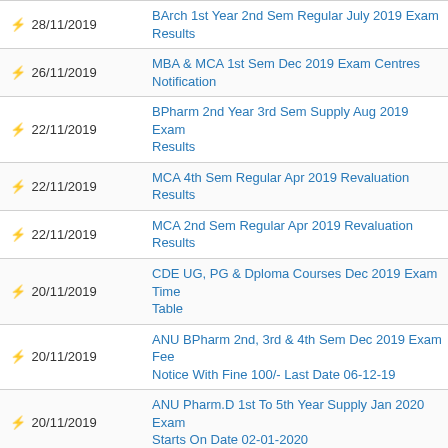| Date | Notification |
| --- | --- |
| 28/11/2019 | BArch 1st Year 2nd Sem Regular July 2019 Exam Results |
| 26/11/2019 | MBA & MCA 1st Sem Dec 2019 Exam Centres Notification |
| 22/11/2019 | BPharm 2nd Year 3rd Sem Supply Aug 2019 Exam Results |
| 22/11/2019 | MCA 4th Sem Regular Apr 2019 Revaluation Results |
| 22/11/2019 | MCA 2nd Sem Regular Apr 2019 Revaluation Results |
| 20/11/2019 | CDE UG, PG & Dploma Courses Dec 2019 Exam Time Table |
| 20/11/2019 | ANU BPharm 2nd, 3rd & 4th Sem Dec 2019 Exam Fee Notice With Fine 100/- Last Date 06-12-19 |
| 20/11/2019 | ANU Pharm.D 1st To 5th Year Supply Jan 2020 Exam Starts On Date 02-01-2020 |
| 19/11/2019 | BED 2019-20 Revised Academic Schedule Notification |
| 19/11/2019 | Pharm.D 2nd Year Aug 2019 Exam Results |
| 18/11/2019 | BArch 3rd Year 2nd Sem Regular July 2019 Exam Results |
| 18/11/2019 | BArch 2nd Year 2nd Sem Regular July 2019 Exam Results |
| 18/11/2019 | ANU MPharm 2nd To 4th Sem Nov Dec 2019 Rev Exam... |